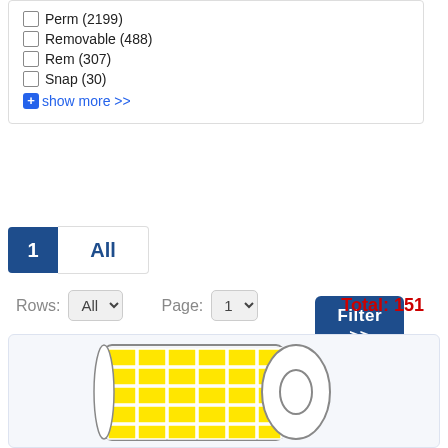Perm (2199)
Removable (488)
Rem (307)
Snap (30)
+ show more >>
Filter >>
1   All
Rows: All   Page: 1   Total: 151
[Figure (illustration): A roll of yellow label stickers shown from the side, with a grid of square yellow labels visible on the roll surface.]